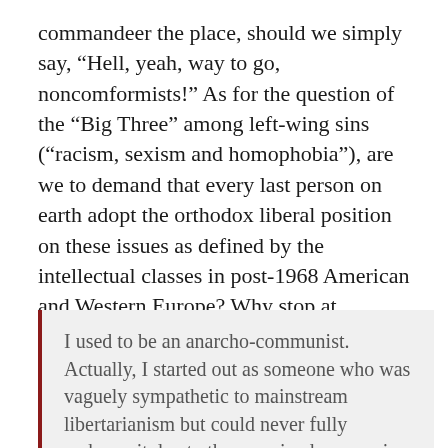commandeer the place, should we simply say, “Hell, yeah, way to go, noncomformists!” As for the question of the “Big Three” among left-wing sins (“racism, sexism and homophobia”), are we to demand that every last person on earth adopt the orthodox liberal position on these issues as defined by the intellectual classes in post-1968 American and Western Europe? Why stop at “patriarchy, racism and heterosexism”? Soviet Onion points out that many “left-wing” anarchists do not stop at that point:
I used to be an anarcho-communist. Actually, I started out as someone who was vaguely sympathetic to mainstream libertarianism but could never fully embrace it due to the perceived economic...